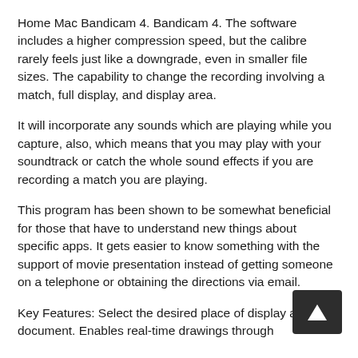Home Mac Bandicam 4. Bandicam 4. The software includes a higher compression speed, but the calibre rarely feels just like a downgrade, even in smaller file sizes. The capability to change the recording involving a match, full display, and display area.
It will incorporate any sounds which are playing while you capture, also, which means that you may play with your soundtrack or catch the whole sound effects if you are recording a match you are playing.
This program has been shown to be somewhat beneficial for those that have to understand new things about specific apps. It gets easier to know something with the support of movie presentation instead of getting someone on a telephone or obtaining the directions via email.
Key Features: Select the desired place of display and document. Enables real-time drawings through